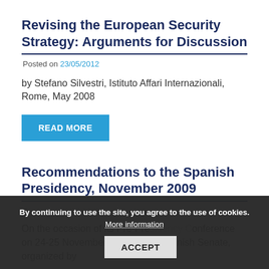Revising the European Security Strategy: Arguments for Discussion
Posted on 23/05/2012
by Stefano Silvestri, Istituto Affari Internazionali, Rome, May 2008
READ MORE
Recommendations to the Spanish Presidency, November 2009
Posted on 22/05/2012
On the occasion of its Pre-Presidency Conference on 24-25 November 2009 at the Spanish Senate, organized by
By continuing to use the site, you agree to the use of cookies. More information ACCEPT